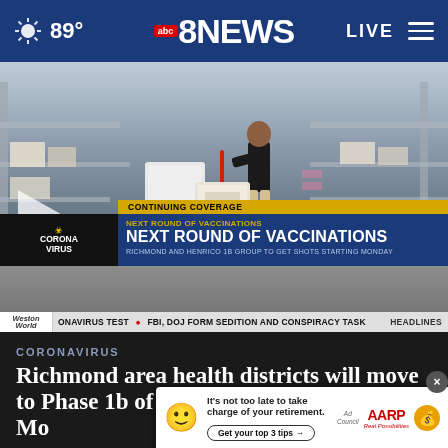89° abc8NEWS LIVE
[Figure (screenshot): Video thumbnail of a warehouse worker pushing a hand truck/dolly with boxes, with news lower-third overlays showing CONTINUING COVERAGE / NEXT ROUND OF VACCINATIONS / RICHMOND AND HENRICO 1B GROUP TO GET SHOTS STARTING MONDAY, and a ticker: CORONAVIRUS TEST • FBI, DOJ FORM SEDITION AND CONSPIRACY TASK • HEADLINES]
CORONAVIRUS
Richmond area health districts will move to Phase 1b of COVID-19 vaccinations Monday
[Figure (infographic): AARP advertisement overlay: It's not too late to take charge of your retirement. Get your top 3 tips →  Ad Council  AARP Real Possibilities]